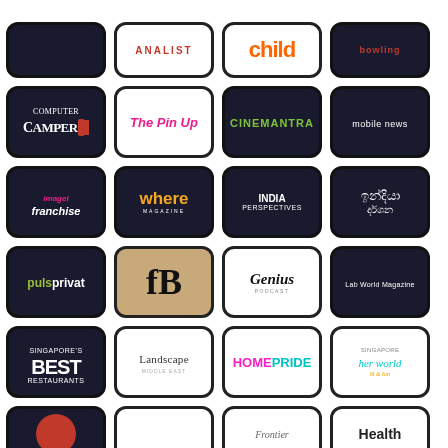[Figure (illustration): Grid of magazine/publication app icons including: Camper, The Pin Up, Cinemantra, Mobile News, Imagei Franchise, Where Magazine, India Perspectives, India Darsana (Sinhala), PulsPrivat, fB logo, Genius Podcast, Lab World Magazine, Singapore's Best Restaurants, Landscape, HomePride, Her World Fit & Fun, and partial row with Frontier, Health]